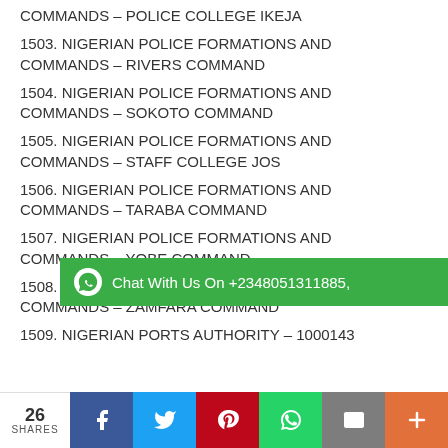COMMANDS – POLICE COLLEGE IKEJA
1503. NIGERIAN POLICE FORMATIONS AND COMMANDS – RIVERS COMMAND
1504. NIGERIAN POLICE FORMATIONS AND COMMANDS – SOKOTO COMMAND
1505. NIGERIAN POLICE FORMATIONS AND COMMANDS – STAFF COLLEGE JOS
1506. NIGERIAN POLICE FORMATIONS AND COMMANDS – TARABA COMMAND
1507. NIGERIAN POLICE FORMATIONS AND COMMANDS – YOBE COMMAND
1508. NIGERIAN POLICE FORMATIONS AND COMMANDS – ZAMFARA COMMAND
1509. NIGERIAN PORTS AUTHORITY – 1000143